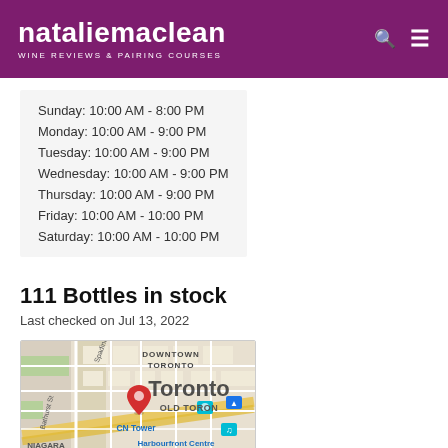nataliemaclean WINE REVIEWS & PAIRING COURSES
Sunday: 10:00 AM - 8:00 PM
Monday: 10:00 AM - 9:00 PM
Tuesday: 10:00 AM - 9:00 PM
Wednesday: 10:00 AM - 9:00 PM
Thursday: 10:00 AM - 9:00 PM
Friday: 10:00 AM - 10:00 PM
Saturday: 10:00 AM - 10:00 PM
111 Bottles in stock
Last checked on Jul 13, 2022
[Figure (map): Google map showing Downtown Toronto area with a red location pin, CN Tower label, Harbourfront Centre label, Bathurst St, and NIAGARA label visible at bottom.]